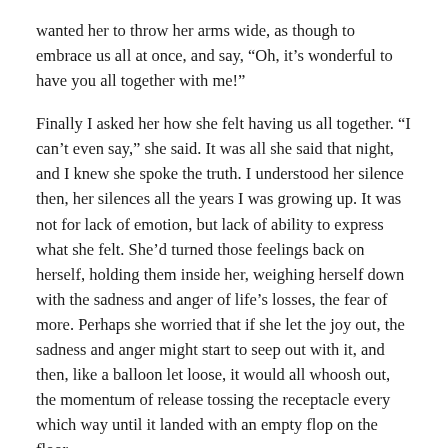wanted her to throw her arms wide, as though to embrace us all at once, and say, “Oh, it’s wonderful to have you all together with me!”
Finally I asked her how she felt having us all together. “I can’t even say,” she said. It was all she said that night, and I knew she spoke the truth. I understood her silence then, her silences all the years I was growing up. It was not for lack of emotion, but lack of ability to express what she felt. She’d turned those feelings back on herself, holding them inside her, weighing herself down with the sadness and anger of life’s losses, the fear of more. Perhaps she worried that if she let the joy out, the sadness and anger might start to seep out with it, and then, like a balloon let loose, it would all whoosh out, the momentum of release tossing the receptacle every which way until it landed with an empty flop on the floor.